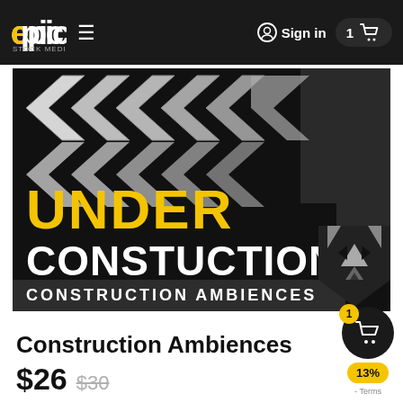Epic Stock Media — Sign in — Cart: 1
[Figure (illustration): Product artwork for 'Under Construction / Construction Ambiences' sound library. Black background with large grey chevron/arrow shapes pointing left. Yellow bold text 'UNDER' and white bold text 'CONSTUCTION' below. Bottom white text 'CONSTRUCTION AMBIENCES'. Bottom-right corner shows a geometric fox/wolf logo in grey and black.]
Construction Ambiences
$26  $30
13%